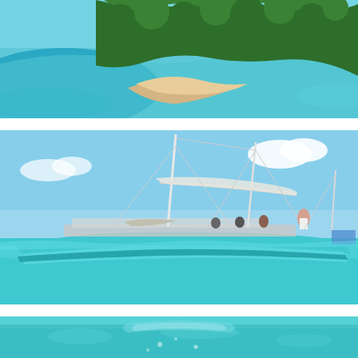[Figure (photo): Aerial view of a tropical island with lush green forest, sandy beach point, and turquoise blue ocean water surrounding it]
[Figure (photo): Low water-level perspective of a large turquoise-hulled sailboat with tall masts and white sails, crew members visible on deck, set against a blue sky with white clouds and calm turquoise water]
[Figure (photo): Underwater or near water-surface view showing turquoise water with a partially submerged object or boat hull visible]